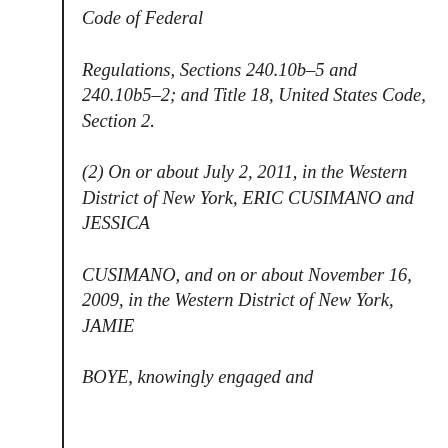Code of Federal
Regulations, Sections 240.10b–5 and 240.10b5–2; and Title 18, United States Code, Section 2.
(2) On or about July 2, 2011, in the Western District of New York, ERIC CUSIMANO and JESSICA
CUSIMANO, and on or about November 16, 2009, in the Western District of New York, JAMIE
BOYE, knowingly engaged and